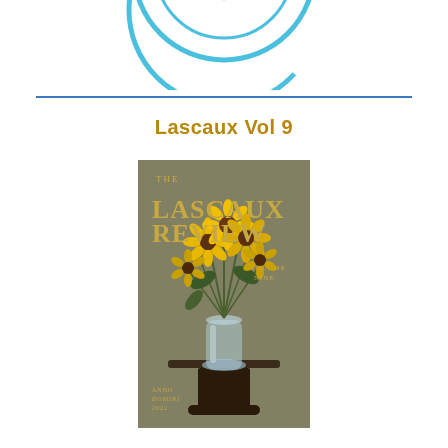[Figure (logo): Circular blue logo with a fountain pen nib icon in the center, resembling a literary or writing organization emblem]
Lascaux Vol 9
[Figure (photo): Cover of The Lascaux Review Volume Nine, showing a painting of yellow sunflowers (black-eyed Susans) in a glass vase on a dark stand, with gold text reading THE LASCAUX REVIEW VOLUME NINE and ANNO DOMINI 2022 at the bottom left]